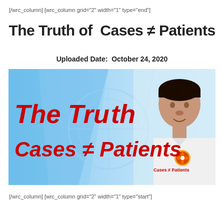[/wrc_column] [wrc_column grid="2" width="1" type="end"]
The Truth of  Cases ≠ Patients
Uploaded Date:  October 24, 2020
[Figure (photo): Thumbnail image showing 'The Truth Cases ≠ Patients' text on a blue background with a man's photo on the right side and a small logo]
[/wrc_column] [wrc_column grid="2" width="1" type="start"]